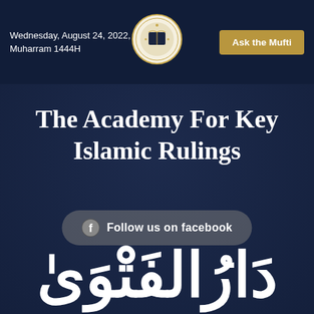Wednesday, August 24, 2022, | 26 Muharram 1444H
[Figure (logo): Circular logo with Islamic/academy emblem in center of header]
Ask the Mufti
The Academy For Key Islamic Rulings
Follow us on facebook
[Figure (other): Arabic calligraphy text reading Dar al-Fatwa in white on dark navy background]